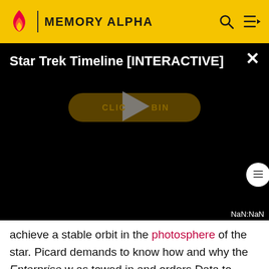MEMORY ALPHA
[Figure (screenshot): Video player overlay showing 'Star Trek Timeline [INTERACTIVE]' with a play button and 'CLICK TO BEGIN' button on black background. Shows NaN:NaN timestamp. Close (X) button in top right corner.]
achieve a stable orbit in the photosphere of the star. Picard demands to know how and why the Enterprise was towed in and orders Data to conduct a scan of the sphere's interior for lifeforms. When La Forge and Scott fail to locate the Enterprise, they realize that the starship